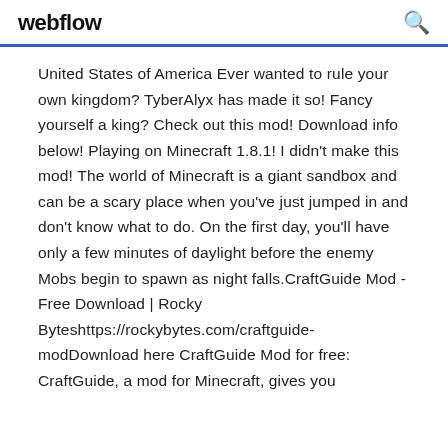webflow
United States of America Ever wanted to rule your own kingdom? TyberAlyx has made it so! Fancy yourself a king? Check out this mod! Download info below! Playing on Minecraft 1.8.1! I didn't make this mod! The world of Minecraft is a giant sandbox and can be a scary place when you've just jumped in and don't know what to do. On the first day, you'll have only a few minutes of daylight before the enemy Mobs begin to spawn as night falls.CraftGuide Mod - Free Download | Rocky Byteshttps://rockybytes.com/craftguide-modDownload here CraftGuide Mod for free: CraftGuide, a mod for Minecraft, gives you